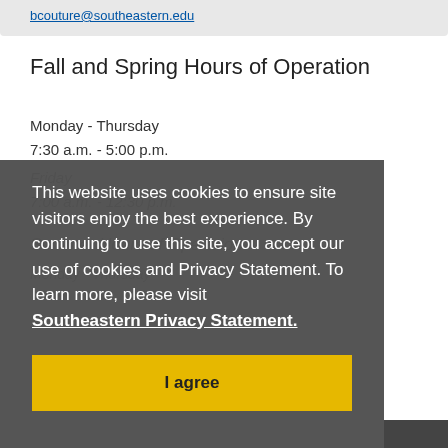bcouture@southeastern.edu
Fall and Spring Hours of Operation
Monday - Thursday
7:30 a.m. - 5:00 p.m.
Friday
7:00 a.m. - 12:30 p.m.
Summer Hours of Operation
Monday - Thursday
This website uses cookies to ensure site visitors enjoy the best experience. By continuing to use this site, you accept our use of cookies and Privacy Statement. To learn more, please visit Southeastern Privacy Statement.
I agree